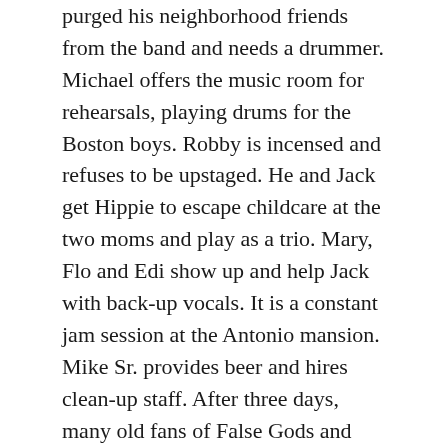purged his neighborhood friends from the band and needs a drummer. Michael offers the music room for rehearsals, playing drums for the Boston boys. Robby is incensed and refuses to be upstaged. He and Jack get Hippie to escape childcare at the two moms and play as a trio. Mary, Flo and Edi show up and help Jack with back-up vocals. It is a constant jam session at the Antonio mansion. Mike Sr. provides beer and hires clean-up staff. After three days,  many old fans of False Gods and new fans of the Neighborhoods are hanging out. The music room is bursting at its seams. An abandoned movie theater in downtown Miami is rented for the final weekend and the multi-band jam session moves in. The Out Crowd kids feel excluded until Dave and Jazz start charging admission at the door, plus running a beer-only concession stand. Stu and Mike Jr hear about the impromptu performance and show up ready to play to the college crowd. Stu is still in junior high. Mike Jr. refuses to play the dance